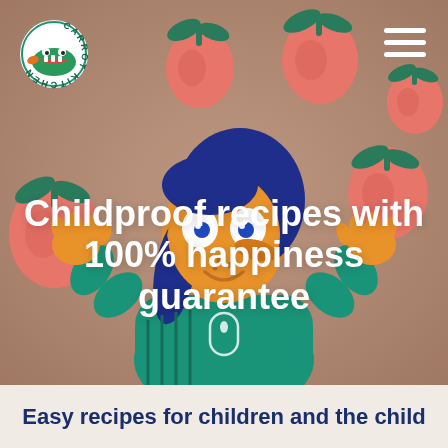[Figure (illustration): Hero banner with brownish-pink background showing a cartoon girl with blue hair and orange skin juggling red apples with green leaves. The girl wears a teal/green top and has a friendly expression. Multiple stylized apples float around her. A Carrot Kitchen logo appears in the top left and a hamburger menu icon in top right.]
Childproof recipes with 100% happiness guarantee
Easy recipes for children and the child